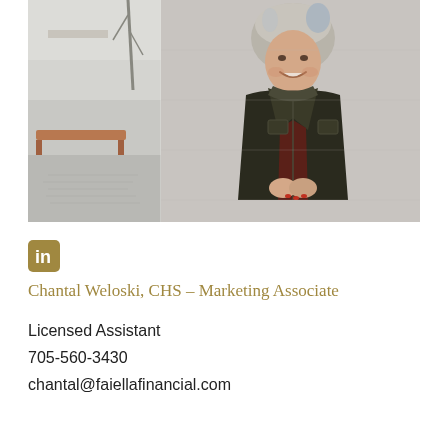[Figure (photo): Professional photo of Chantal Weloski, a woman with short grey-blonde hair, smiling, wearing a dark olive/black jacket over a dark red top, standing against a concrete wall. Left portion shows an outdoor architectural scene.]
[Figure (logo): LinkedIn icon — white 'in' text on a golden/olive square with rounded corners]
Chantal Weloski, CHS – Marketing Associate
Licensed Assistant
705-560-3430
chantal@faiellafinancial.com